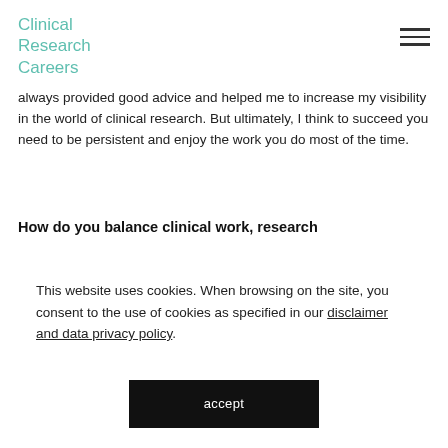Clinical Research Careers
always provided good advice and helped me to increase my visibility in the world of clinical research. But ultimately, I think to succeed you need to be persistent and enjoy the work you do most of the time.
How do you balance clinical work, research
This website uses cookies. When browsing on the site, you consent to the use of cookies as specified in our disclaimer and data privacy policy.
accept